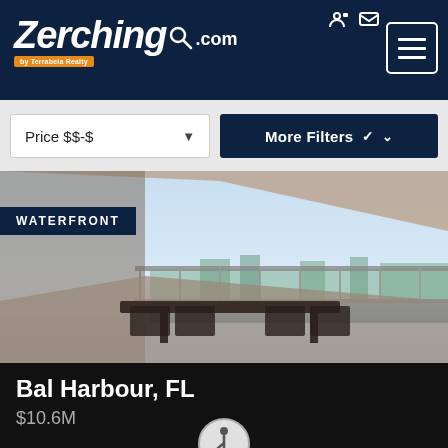[Figure (logo): Zerching.com by Terrabela Realty logo on dark navy header]
Price $$-$
More Filters
[Figure (photo): Luxury high-rise condo balcony with dining table and panoramic waterfront view in Bal Harbour, FL. Badge reads WATERFRONT.]
Bal Harbour, FL
$10.6M
8791 Collins Ave # LphO3